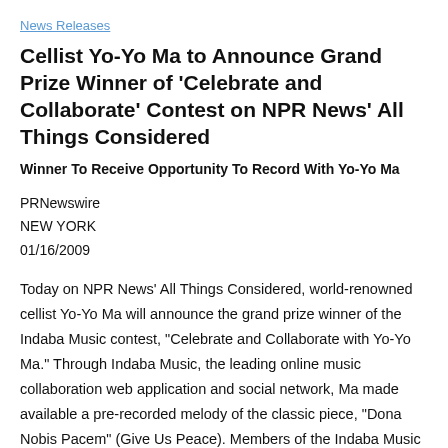News Releases
Cellist Yo-Yo Ma to Announce Grand Prize Winner of 'Celebrate and Collaborate' Contest on NPR News' All Things Considered
Winner To Receive Opportunity To Record With Yo-Yo Ma
PRNewswire
NEW YORK
01/16/2009
Today on NPR News' All Things Considered, world-renowned cellist Yo-Yo Ma will announce the grand prize winner of the Indaba Music contest, "Celebrate and Collaborate with Yo-Yo Ma." Through Indaba Music, the leading online music collaboration web application and social network, Ma made available a pre-recorded melody of the classic piece, "Dona Nobis Pacem" (Give Us Peace). Members of the Indaba Music community, including musicians from all over the world, were challenged to record a counterpart to Ma's cello or create a set of variations based on the main musical theme. The grand prize winner will receive a once-in-a-lifetime